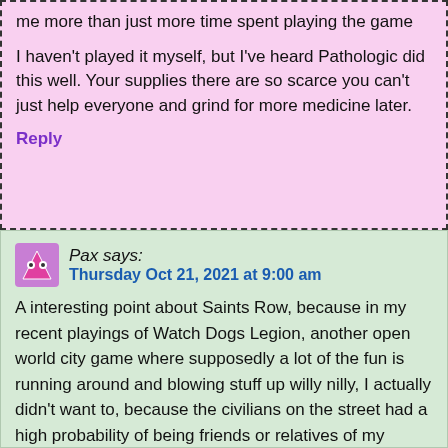moral conundrum seriously, and makes being helpful cost me more than just more time spent playing the game

I haven't played it myself, but I've heard Pathologic did this well. Your supplies there are so scarce you can't just help everyone and grind for more medicine later.
Reply
Pax says:
Thursday Oct 21, 2021 at 9:00 am
A interesting point about Saints Row, because in my recent playings of Watch Dogs Legion, another open world city game where supposedly a lot of the fun is running around and blowing stuff up willy nilly, I actually didn't want to, because the civilians on the street had a high probability of being friends or relatives of my operatives or people I was trying to recruit (or were even my operatives themselves – nothing worse than killing off